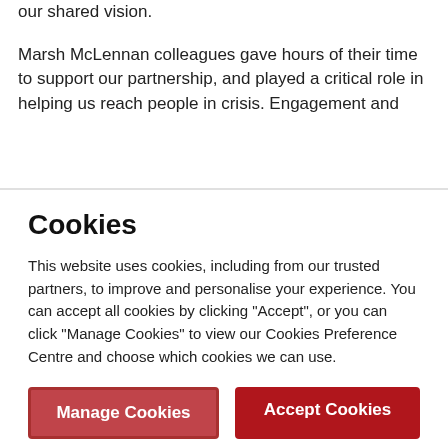our shared vision.
Marsh McLennan colleagues gave hours of their time to support our partnership, and played a critical role in helping us reach people in crisis. Engagement and
Cookies
This website uses cookies, including from our trusted partners, to improve and personalise your experience. You can accept all cookies by clicking "Accept", or you can click "Manage Cookies" to view our Cookies Preference Centre and choose which cookies we can use.
Manage Cookies
Accept Cookies